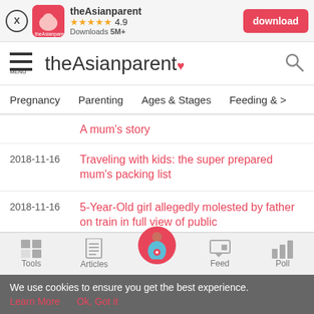[Figure (screenshot): App install banner with close button, app icon, theAsianparent name, 4.9 star rating, 5M+ downloads, and red download button]
theAsianparent — site header with hamburger menu and search icon
Pregnancy   Parenting   Ages & Stages   Feeding & >
A mum's story
2018-11-16   Traveling with kids: the super prepared mum's packing list
2018-11-16   5-Year-Old girl allegedly molested by father on train in full view of public
2018-11-16   Ralph Breaks the Internet: Wreck-It Ralph 2 Review
[Figure (screenshot): Bottom navigation bar with Tools, Articles, center pregnant woman icon, Feed, Poll]
We use cookies to ensure you get the best experience. Learn More   Ok, Got it